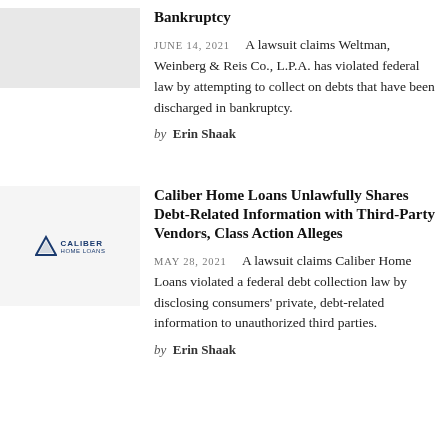[Figure (logo): Placeholder thumbnail image (gray box) for first article about Weltman Weinberg Reis bankruptcy]
Bankruptcy
JUNE 14, 2021   A lawsuit claims Weltman, Weinberg & Reis Co., L.P.A. has violated federal law by attempting to collect on debts that have been discharged in bankruptcy.
by  Erin Shaak
[Figure (logo): Caliber Home Loans logo — blue triangle icon with CALIBER HOME LOANS text]
Caliber Home Loans Unlawfully Shares Debt-Related Information with Third-Party Vendors, Class Action Alleges
MAY 28, 2021   A lawsuit claims Caliber Home Loans violated a federal debt collection law by disclosing consumers' private, debt-related information to unauthorized third parties.
by  Erin Shaak